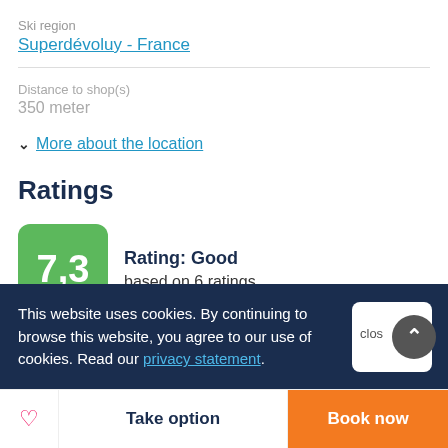Ski region
Superdévoluy - France
Distance to shop(s)
350 meter
More about the location
Ratings
Rating: Good
based on 6 ratings
This website uses cookies. By continuing to browse this website, you agree to our use of cookies. Read our privacy statement.
Take option
Book now